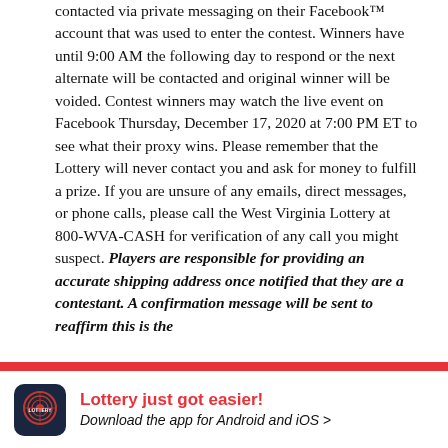contacted via private messaging on their Facebook™ account that was used to enter the contest. Winners have until 9:00 AM the following day to respond or the next alternate will be contacted and original winner will be voided. Contest winners may watch the live event on Facebook Thursday, December 17, 2020 at 7:00 PM ET to see what their proxy wins. Please remember that the Lottery will never contact you and ask for money to fulfill a prize. If you are unsure of any emails, direct messages, or phone calls, please call the West Virginia Lottery at 800-WVA-CASH for verification of any call you might suspect. Players are responsible for providing an accurate shipping address once notified that they are a contestant. A confirmation message will be sent to reaffirm this is the correct address of the contestant and this is the ONLY
Lottery just got easier! Download the app for Android and iOS >